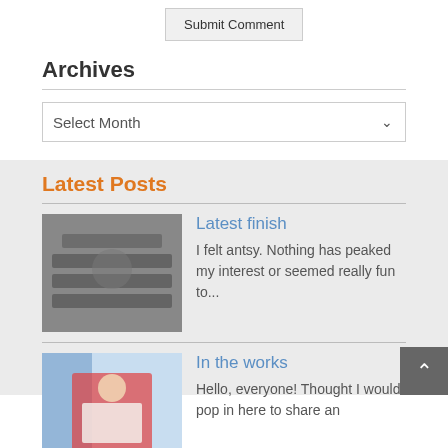Submit Comment
Archives
Select Month
Latest Posts
Latest finish
I felt antsy. Nothing has peaked my interest or seemed really fun to...
[Figure (photo): Photo thumbnail for 'Latest finish' post showing machinery parts]
In the works
Hello, everyone! Thought I would pop in here to share an
[Figure (photo): Photo thumbnail for 'In the works' post showing a person holding fabric/quilt]